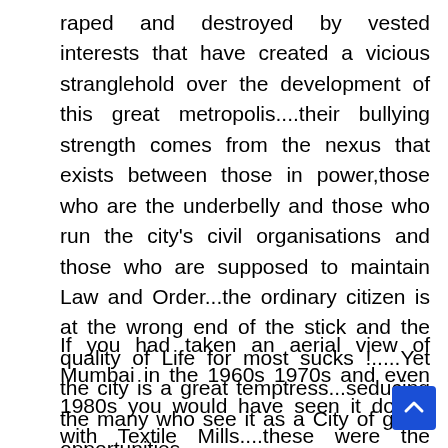raped and destroyed by vested interests that have created a vicious stranglehold over the development of this great metropolis....their bullying strength comes from the nexus that exists between those in power,those who are the underbelly and those who run the city’s civil organisations and those who are supposed to maintain Law and Order...the ordinary citizen is at the wrong end of the stick and the quality of Life for most sucks !.....Yet the city is a great temptress...seducing the many who see it as a City of great opportunities
If you had taken an aerial view of Mumbai in the 1960s 1970s and even 1980s you would have seen it dotted with Textile Mills....these were the lifeline for many in the city....then 1980s saw the decline as domestic and international competition to cotton